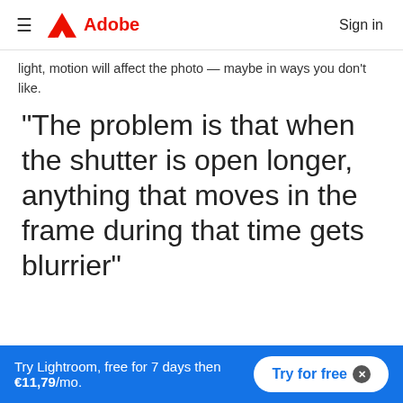Adobe  Sign in
light, motion will affect the photo — maybe in ways you don't like.
“The problem is that when the shutter is open longer, anything that moves in the frame during that time gets blurrier”
Try Lightroom, free for 7 days then €11,79/mo.  Try for free